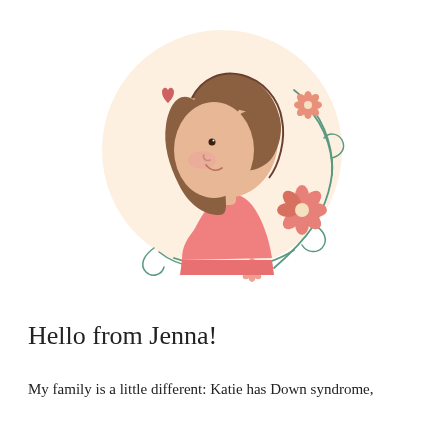[Figure (illustration): Cute cartoon illustration of a girl with brown hair seen from the side, wearing a pink top, with a small pink heart near her head, set inside a large circular cream/beige background. Decorative floral vine wreath surrounds her with pink flowers and teal/green stems.]
Hello from Jenna!
My family is a little different: Katie has Down syndrome,